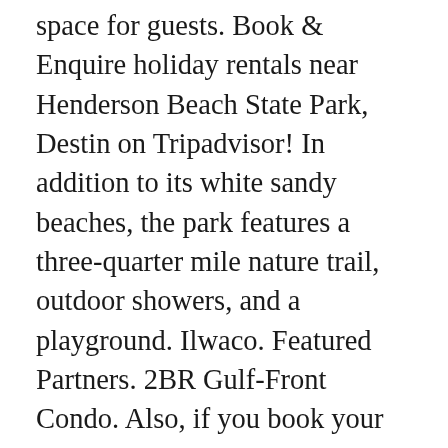space for guests. Book & Enquire holiday rentals near Henderson Beach State Park, Destin on Tripadvisor! In addition to its white sandy beaches, the park features a three-quarter mile nature trail, outdoor showers, and a playground. Ilwaco. Featured Partners. 2BR Gulf-Front Condo. Also, if you book your Henderson Beach State Park vacation package in Destin with Travelocity, you'll get access to our best travel discounts. Learn More . Location. With Gulf views in your sightline at this ground-floor condo, staying here will feel like a dream come true. We are located within walking distance to the white, sandy beaches of the popular Henderson Beach State Park and a